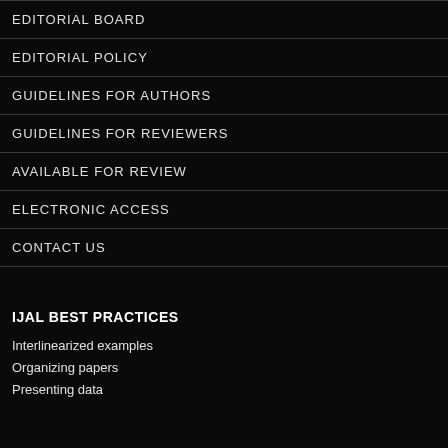EDITORIAL BOARD
EDITORIAL POLICY
GUIDELINES FOR AUTHORS
GUIDELINES FOR REVIEWERS
AVAILABLE FOR REVIEW
ELECTRONIC ACCESS
CONTACT US
IJAL BEST PRACTICES
Interlinearized examples
Organizing papers
Presenting data